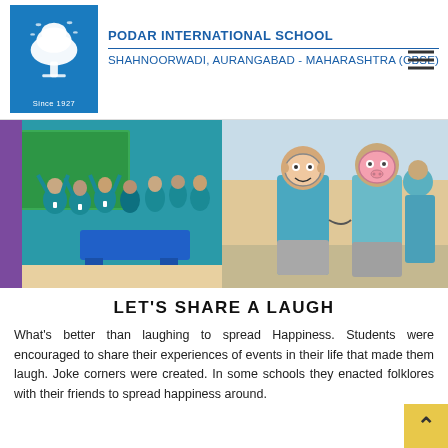PODAR INTERNATIONAL SCHOOL
SHAHNOORWADI, AURANGABAD - MAHARASHTRA (CBSE)
[Figure (photo): Two school activity photos side by side: left photo shows students in teal uniforms raising hands in a classroom; right photo shows two students wearing face masks/costumes outdoors.]
LET'S SHARE A LAUGH
What's better than laughing to spread Happiness. Students were encouraged to share their experiences of events in their life that made them laugh. Joke corners were created. In some schools they enacted folklores with their friends to spread happiness around.